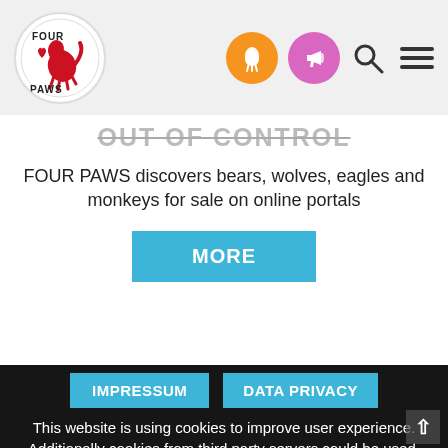[Figure (logo): Four Paws logo - red cat/animal figure with text FOUR PAWS in a white circle]
[Figure (infographic): Navigation icons: orange circle with hand/heart icon, pink/purple circle with megaphone icon, search icon, hamburger menu icon]
out of control
FOUR PAWS discovers bears, wolves, eagles and monkeys for sale on online portals
MORE
IMPRESSUM
DATA PRIVACY
This website is using cookies to improve user experience. Additionally cookies from third party servers could be used.
YES, I UNDERSTAND!